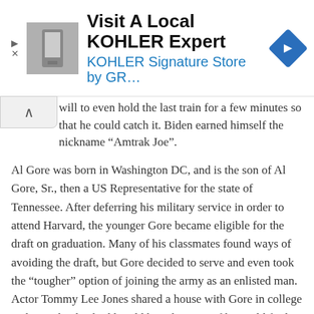[Figure (infographic): Advertisement banner for Visit A Local KOHLER Expert - KOHLER Signature Store by GR... with a product image thumbnail and navigation icon]
will to even hold the last train for a few minutes so that he could catch it. Biden earned himself the nickname “Amtrak Joe”.
Al Gore was born in Washington DC, and is the son of Al Gore, Sr., then a US Representative for the state of Tennessee. After deferring his military service in order to attend Harvard, the younger Gore became eligible for the draft on graduation. Many of his classmates found ways of avoiding the draft, but Gore decided to serve and even took the “tougher” option of joining the army as an enlisted man. Actor Tommy Lee Jones shared a house with Gore in college and says that his buddy told him that even if he could find a way around the draft, someone with